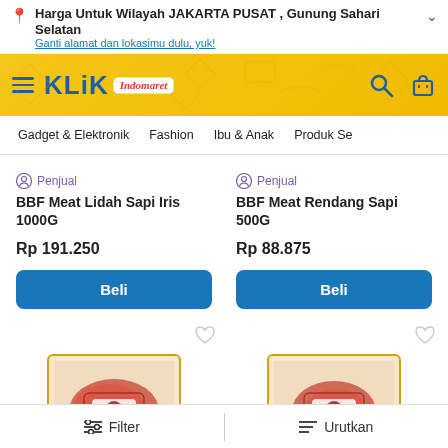Harga Untuk Wilayah JAKARTA PUSAT , Gunung Sahari Selatan
Ganti alamat dan lokasimu dulu, yuk!
[Figure (logo): KLiK Indomaret logo on yellow header bar with hamburger menu, search and cart icons]
Gadget & Elektronik  Fashion  Ibu & Anak  Produk Se
Penjual
BBF Meat Lidah Sapi Iris 1000G
Rp 191.250
Penjual
BBF Meat Rendang Sapi 500G
Rp 88.875
[Figure (photo): Product image of BBF Meat Lidah Sapi Iris 1000G packaged meat]
[Figure (photo): Product image of BBF Meat Rendang Sapi 500G packaged meat]
Filter    Urutkan